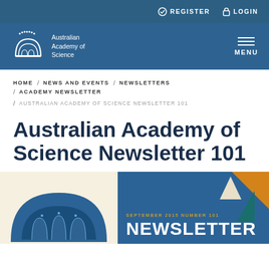REGISTER  LOGIN
[Figure (logo): Australian Academy of Science logo with dome/arch icon and text 'Australian Academy of Science']
MENU
HOME / NEWS AND EVENTS / NEWSLETTERS / ACADEMY NEWSLETTER
/ AUSTRALIAN ACADEMY OF SCIENCE NEWSLETTER 101
Australian Academy of Science Newsletter 101
[Figure (illustration): Newsletter 101 cover image: cream background with blue dome/arch illustration on left, dark blue panel on right with text 'SEPTEMBER 2015 NUMBER 101 NEWSLETTER' and geometric triangle decorations in orange, teal, and cream]